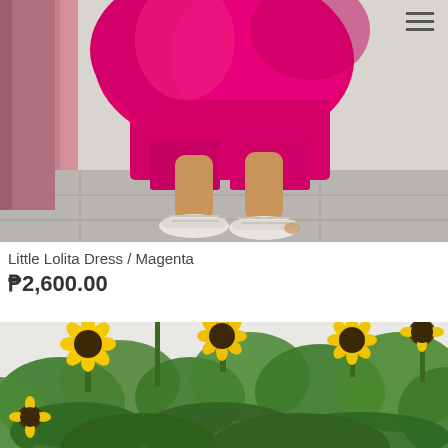[Figure (photo): A person wearing a bright magenta/hot pink satin dress and white woven slide sandals, standing on a tiled floor against a pink and gray wall. Only legs and lower body visible.]
Little Lolita Dress / Magenta
₱2,600.00
[Figure (photo): Close-up of sunflowers with large green leaves against a light sky background.]